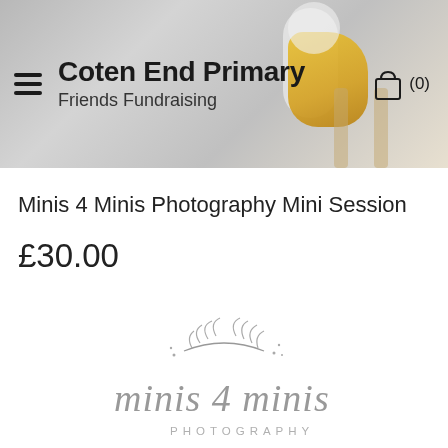Coten End Primary — Friends Fundraising
Minis 4 Minis Photography Mini Session
£30.00
[Figure (logo): Minis 4 Minis Photography logo with hand-drawn botanical branch illustration above stylized script text 'minis 4 minis' and 'PHOTOGRAPHY' in grey]